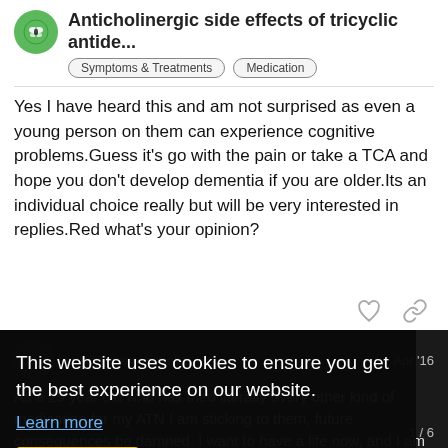Anticholinergic side effects of tricyclic antide...
Symptoms & Treatments   Medication
Yes I have heard this and am not surprised as even a young person on them can experience cognitive problems.Guess it's go with the pain or take a TCA and hope you don't develop dementia if you are older.Its an individual choice really but will be very interested in replies.Red what's your opinion?
itwouldntbemakobelle   Apr '16
As a 25 year old who has tried literally every other kind of medication for my ATN I am sticking to them, future consequences be damned. I want to have a life now, and I am still struggling with life on the TCAs. Honestly, I don't want to live super long, as I would rather get the most out of my life now and worry about the fu
Maybe that is a foolish "young" way of th
This website uses cookies to ensure you get the best experience on our website.
Learn more
Got it!
1 / 6